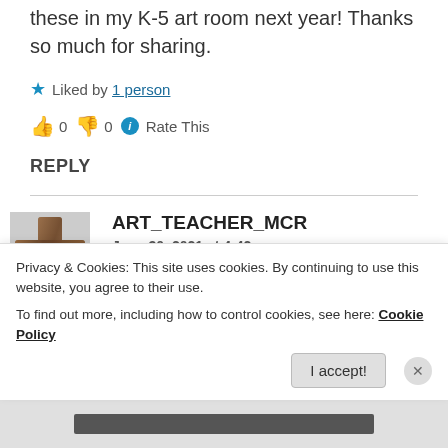these in my K-5 art room next year! Thanks so much for sharing.
★ Liked by 1 person
👍 0 👎 0 ℹ Rate This
REPLY
ART_TEACHER_MCR
June 30, 2021 at 4:42 pm
Privacy & Cookies: This site uses cookies. By continuing to use this website, you agree to their use.
To find out more, including how to control cookies, see here: Cookie Policy
I accept!